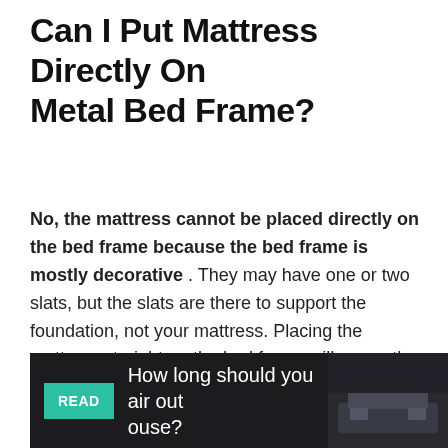Can I Put Mattress Directly On Metal Bed Frame?
No, the mattress cannot be placed directly on the bed frame because the bed frame is mostly decorative. They may have one or two slats, but the slats are there to support the foundation, not your mattress. Placing the mattress straight on the bed frame will cause the mattress to sag and the mattress warranty will be voided.
[Figure (other): Promotional banner with dark background showing a READ badge in teal, text reading 'How long should you air out a house?' and a bedroom photo on the right]